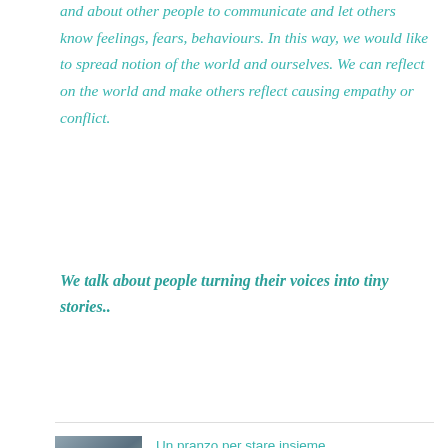and about other people to communicate and let others know feelings, fears, behaviours. In this way, we would like to spread notion of the world and ourselves. We can reflect on the world and make others reflect causing empathy or conflict.
We talk about people turning their voices into tiny stories..
[Figure (photo): People seated around tables in a meeting or lunch setting]
Un pranzo per stare insieme
19 Dec 2017
[Figure (photo): Colorful vegetables or food items in red, yellow and green]
Impariamo a conoscere l'arte della cucina italiana!